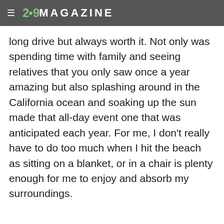2•9MAGAZINE
long drive but always worth it. Not only was spending time with family and seeing relatives that you only saw once a year amazing but also splashing around in the California ocean and soaking up the sun made that all-day event one that was anticipated each year. For me, I don't really have to do too much when I hit the beach as sitting on a blanket, or in a chair is plenty enough for me to enjoy and absorb my surroundings.